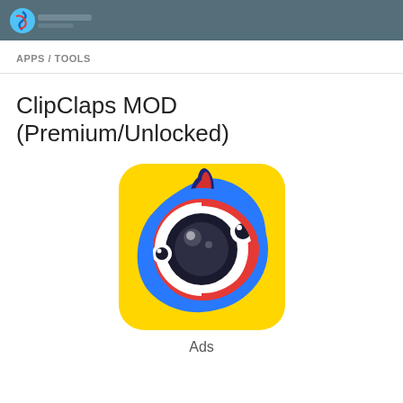APPS / TOOLS
ClipClaps MOD (Premium/Unlocked)
[Figure (logo): ClipClaps app icon on yellow rounded square background, featuring a circular camera lens design with blue, red and white rings, two cartoon eyes, and a dark blue flame/fin on top]
Ads